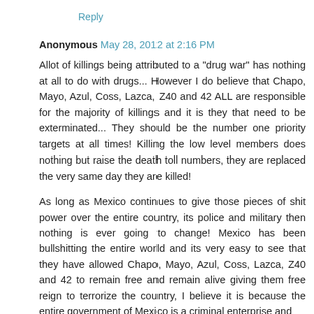Reply
Anonymous May 28, 2012 at 2:16 PM
Allot of killings being attributed to a "drug war" has nothing at all to do with drugs... However I do believe that Chapo, Mayo, Azul, Coss, Lazca, Z40 and 42 ALL are responsible for the majority of killings and it is they that need to be exterminated... They should be the number one priority targets at all times! Killing the low level members does nothing but raise the death toll numbers, they are replaced the very same day they are killed!
As long as Mexico continues to give those pieces of shit power over the entire country, its police and military then nothing is ever going to change! Mexico has been bullshitting the entire world and its very easy to see that they have allowed Chapo, Mayo, Azul, Coss, Lazca, Z40 and 42 to remain free and remain alive giving them free reign to terrorize the country, I believe it is because the entire government of Mexico is a criminal enterprise and